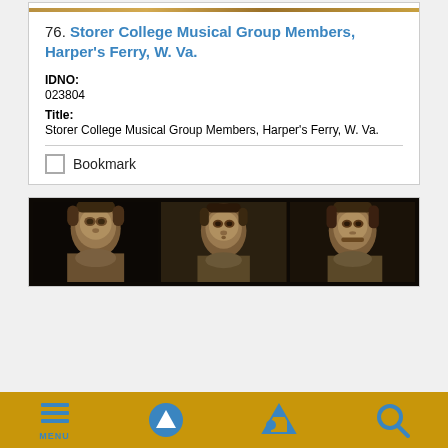[Figure (photo): Sepia-toned strip photograph at top of card, partially visible]
76. Storer College Musical Group Members, Harper's Ferry, W. Va.
IDNO:
023804
Title:
Storer College Musical Group Members, Harper's Ferry, W. Va.
Bookmark
[Figure (photo): Three sepia portrait photographs of women, side by side, from the Storer College Musical Group Members collection]